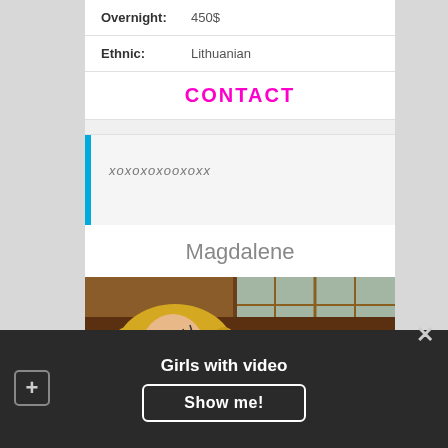| Overnight: | 450$ |
| Ethnic: | Lithuanian |
CONTACT
xoxoxoxooxoxx
Magdalene
[Figure (photo): Portrait photo of a blonde woman in front of wooden paneling with windows]
Girls with video
Show me!